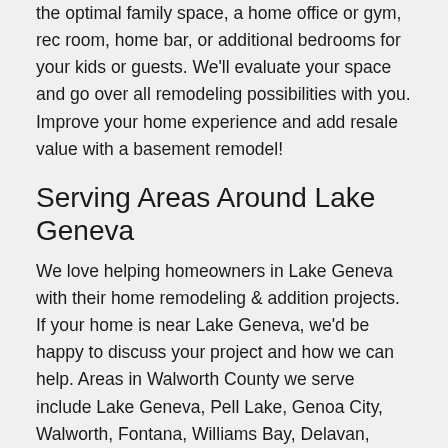the optimal family space, a home office or gym, rec room, home bar, or additional bedrooms for your kids or guests. We'll evaluate your space and go over all remodeling possibilities with you. Improve your home experience and add resale value with a basement remodel!
Serving Areas Around Lake Geneva
We love helping homeowners in Lake Geneva with their home remodeling & addition projects. If your home is near Lake Geneva, we'd be happy to discuss your project and how we can help. Areas in Walworth County we serve include Lake Geneva, Pell Lake, Genoa City, Walworth, Fontana, Williams Bay, Delavan, Elkhorn, Como, Springfield, and more. Call us to find out how we can accommodate you!